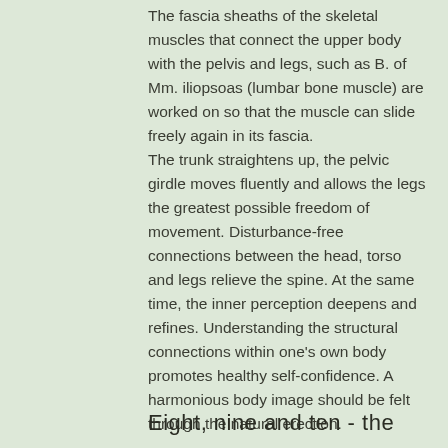The fascia sheaths of the skeletal muscles that connect the upper body with the pelvis and legs, such as B. of Mm. iliopsoas (lumbar bone muscle) are worked on so that the muscle can slide freely again in its fascia. The trunk straightens up, the pelvic girdle moves fluently and allows the legs the greatest possible freedom of movement. Disturbance-free connections between the head, torso and legs relieve the spine. At the same time, the inner perception deepens and refines. Understanding the structural connections within one's own body promotes healthy self-confidence. A harmonious body image should be felt through the natural erection.
Eight, nine and ten - the